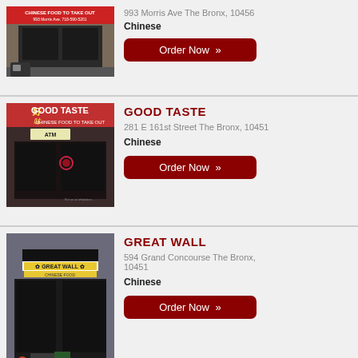[Figure (photo): Storefront of a Chinese takeout restaurant at 993 Morris Ave, The Bronx, with red signage reading 'Chinese Food to Take Out']
993 Morris Ave The Bronx, 10456
Chinese
Order Now »
[Figure (photo): Storefront of Good Taste Chinese restaurant at 281 E 161st Street, The Bronx, with red and yellow signage]
GOOD TASTE
281 E 161st Street The Bronx, 10451
Chinese
Order Now »
[Figure (photo): Storefront of Great Wall Chinese restaurant at 594 Grand Concourse, The Bronx, with yellow signage]
GREAT WALL
594 Grand Concourse The Bronx, 10451
Chinese
Order Now »